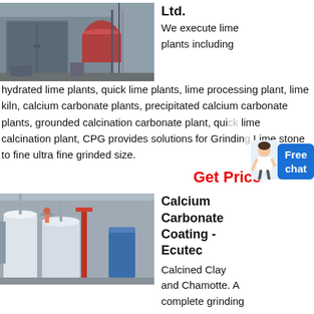[Figure (photo): Industrial lime plant exterior photo showing large metal equipment, barrels/containers, pipes and industrial building facade, grayscale/muted tones.]
Ltd.
We execute lime plants including hydrated lime plants, quick lime plants, lime processing plant, lime kiln, calcium carbonate plants, precipitated calcium carbonate plants, grounded calcination carbonate plant, quick lime calcination plant, CPG provides solutions for Grinding Lime stone to fine ultra fine grinded size.
Get Price
[Figure (photo): Industrial calcium carbonate coating plant photo showing large white silos, tanks, pipes, red structural elements, and a worker on a platform.]
Calcium Carbonate Coating - Ecutec
Calcined Clay and Chamotte. A complete grinding